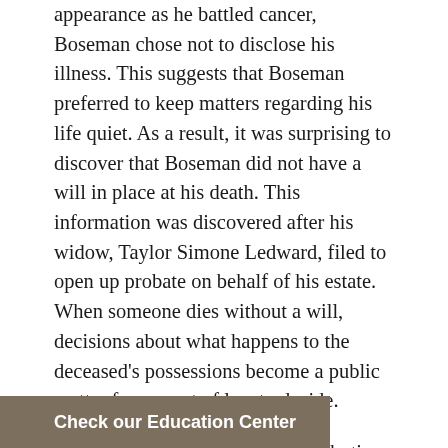appearance as he battled cancer, Boseman chose not to disclose his illness. This suggests that Boseman preferred to keep matters regarding his life quiet. As a result, it was surprising to discover that Boseman did not have a will in place at his death. This information was discovered after his widow, Taylor Simone Ledward, filed to open up probate on behalf of his estate. When someone dies without a will, decisions about what happens to the deceased's possessions become a public matter for a court of law to decide.
The process of dividing and distributing someone's property and money after the person dies is called probate. Probate is also applicable to people who have wills. However, if you die with a will in place, your wishes govern to the extent possible. Without a will, the default rules of the particular state apply (called intestacy laws). For people who value privacy, the [process can be] very intrusive. It
Check our Education Center